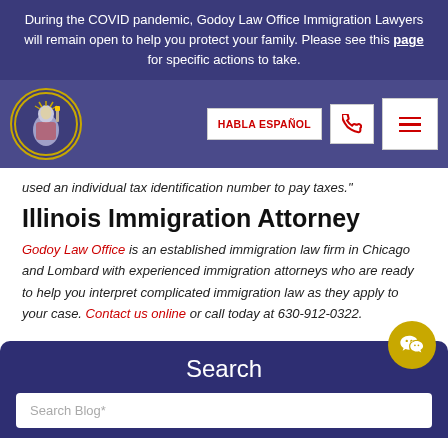During the COVID pandemic, Godoy Law Office Immigration Lawyers will remain open to help you protect your family. Please see this page for specific actions to take.
[Figure (logo): Godoy Law Office logo: circular badge with Statue of Liberty figure and gold border]
used an individual tax identification number to pay taxes."
Illinois Immigration Attorney
Godoy Law Office is an established immigration law firm in Chicago and Lombard with experienced immigration attorneys who are ready to help you interpret complicated immigration law as they apply to your case. Contact us online or call today at 630-912-0322.
Search
Search Blog*